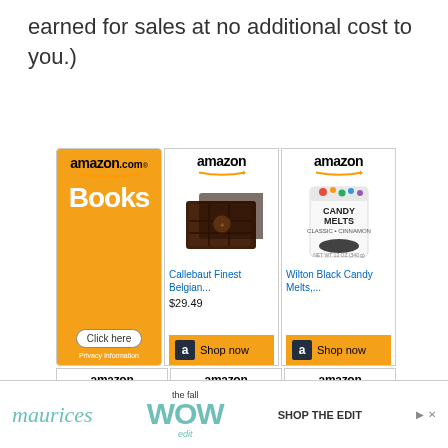earned for sales at no additional cost to you.)
[Figure (screenshot): Amazon affiliate ads grid showing: Amazon Books ad, Callebaut Finest Belgian product ad ($29.49), Wilton Black Candy Melts product ad, and three partially visible Amazon product ads in a second row]
[Figure (screenshot): Maurices banner advertisement: 'maurices the fall WOW edit SHOP THE EDIT']